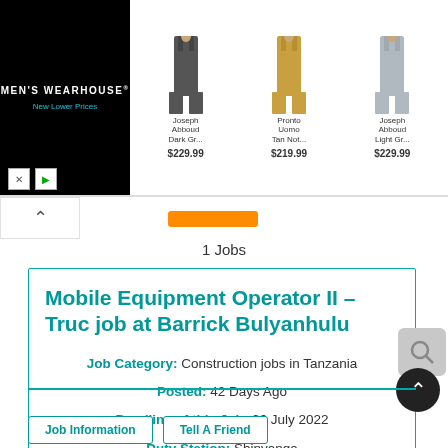[Figure (screenshot): Men's Wearhouse advertisement banner showing three suits: Joseph Abboud Dark Gr... $229.99, Pronto Uomo Tan Not... $219.99, Joseph Abboud Light Gr... $229.99]
1 Jobs
Mobile Equipment Operator II – Truc job at Barrick Bulyanhulu
Job Category: Construction jobs in Tanzania
Posted: 42 Days Ago
Deadline of this Job: 26 July 2022
Duty Station: Shinyanga
Job Information   Tell A Friend